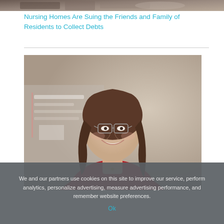[Figure (photo): Partial top of a photo showing people, cropped at top of page]
Nursing Homes Are Suing the Friends and Family of Residents to Collect Debts
[Figure (photo): Professional headshot of a woman with brown shoulder-length hair and glasses, wearing a red blazer, smiling in an office or clinical setting]
We and our partners use cookies on this site to improve our service, perform analytics, personalize advertising, measure advertising performance, and remember website preferences.
Ok